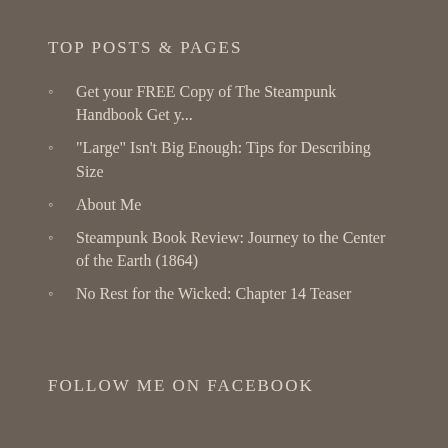TOP POSTS & PAGES
Get your FREE Copy of The Steampunk Handbook Get y...
"Large" Isn't Big Enough: Tips for Describing Size
About Me
Steampunk Book Review: Journey to the Center of the Earth (1864)
No Rest for the Wicked: Chapter 14 Teaser
FOLLOW ME ON FACEBOOK